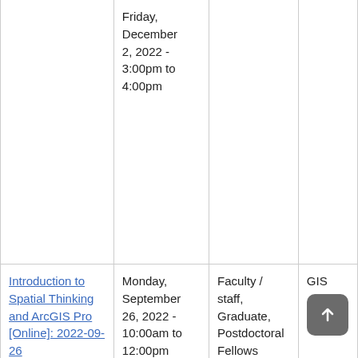|  | Date/Time | Audience | Topic |
| --- | --- | --- | --- |
|  | Friday, December 2, 2022 - 3:00pm to 4:00pm |  |  |
| Introduction to Spatial Thinking and ArcGIS Pro [Online]: 2022-09-26 | Monday, September 26, 2022 - 10:00am to 12:00pm | Faculty / staff, Graduate, Postdoctoral Fellows | GIS |
| "I'll Do It Later": Managing Procrastination: 2022-09-26 | Monday, September 26, 2022 - 11:30am to 12:20pm | Undergraduate | Learning |